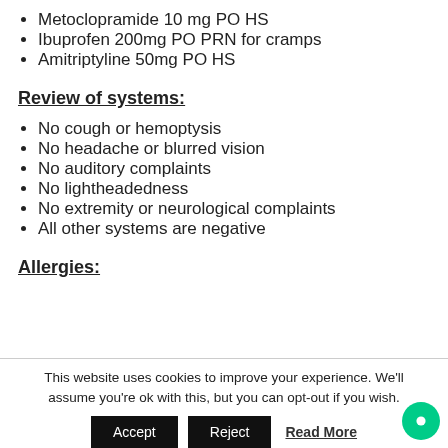Metoclopramide 10 mg PO HS
Ibuprofen 200mg PO PRN for cramps
Amitriptyline 50mg PO HS
Review of systems:
No cough or hemoptysis
No headache or blurred vision
No auditory complaints
No lightheadedness
No extremity or neurological complaints
All other systems are negative
Allergies:
This website uses cookies to improve your experience. We'll assume you're ok with this, but you can opt-out if you wish.